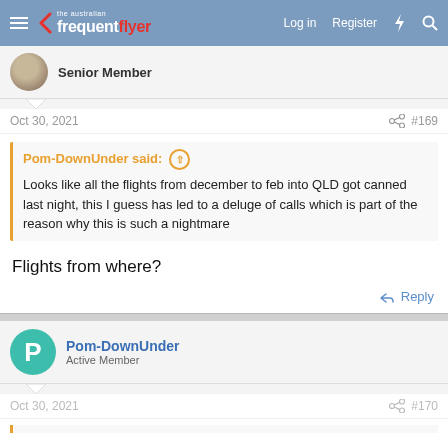the australian frequent flyer | Log in | Register
Senior Member
Oct 30, 2021  #169
Pom-DownUnder said: ↑
Looks like all the flights from december to feb into QLD got canned last night, this I guess has led to a deluge of calls which is part of the reason why this is such a nightmare
Flights from where?
↩ Reply
Pom-DownUnder
Active Member
Oct 30, 2021  #170